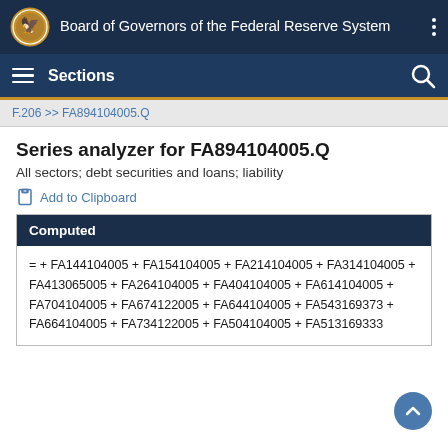Board of Governors of the Federal Reserve System
Sections
F.206 >> FA894104005.Q
Series analyzer for FA894104005.Q
All sectors; debt securities and loans; liability
Add to Clipboard
| Computed |
| --- |
| = + FA144104005 + FA154104005 + FA214104005 + FA314104005 + FA413065005 + FA264104005 + FA404104005 + FA614104005 + FA704104005 + FA674122005 + FA644104005 + FA543169373 + FA664104005 + FA734122005 + FA504104005 + FA513169333 |
[Figure (other): Scroll to top button (circular blue button with upward chevron)]